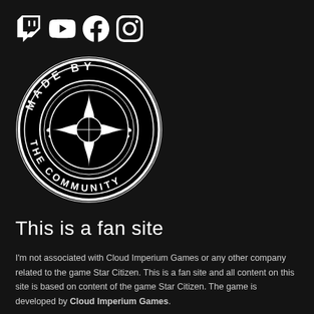[Figure (logo): Social media icons: Twitch, YouTube, Facebook, Instagram]
[Figure (logo): Made By The Community circular badge logo with a star/compass rose design and laurel wreath]
This is a fan site
I'm not associated with Cloud Imperium Games or any other company related to the game Star Citizen. This is a fan site and all content on this site is based on content of the game Star Citizen. The game is developed by Cloud Imperium Games.